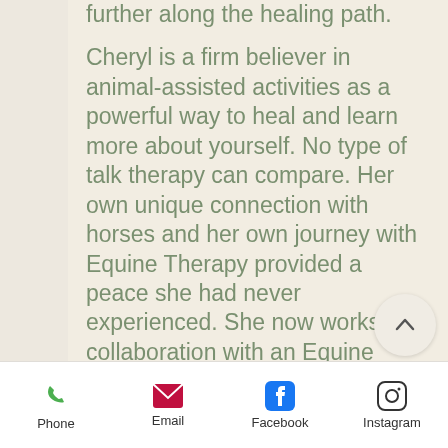further along the healing path.

Cheryl is a firm believer in animal-assisted activities as a powerful way to heal and learn more about yourself. No type of talk therapy can compare. Her own unique connection with horses and her own journey with Equine Therapy provided a peace she had never experienced. She now works in collaboration with an Equine Specialist and offers YOU Equine Assisted Learning sessions as part of your holistic journey.
Phone | Email | Facebook | Instagram